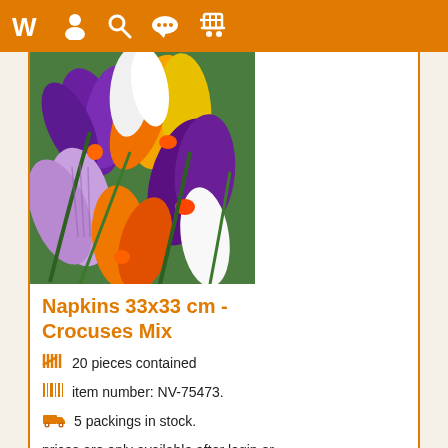Navigation bar with logo and icons (user, search, chat, cart)
[Figure (photo): Close-up photo of colorful crocus flowers in purple, yellow/orange, and white, densely packed together]
Napkins 33x33 cm - Crocuses Mix
20 pieces contained
item number: NV-75473.
5 packings in stock.
prices are only available after login or